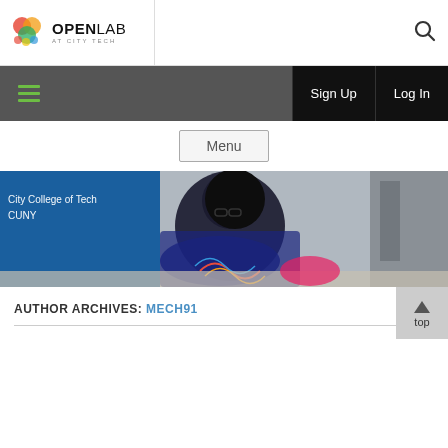OpenLab at City Tech
[Figure (photo): Student working with wires/electronics at City College of Technology CUNY]
AUTHOR ARCHIVES: MECH91
Menu
Sign Up | Log In | top